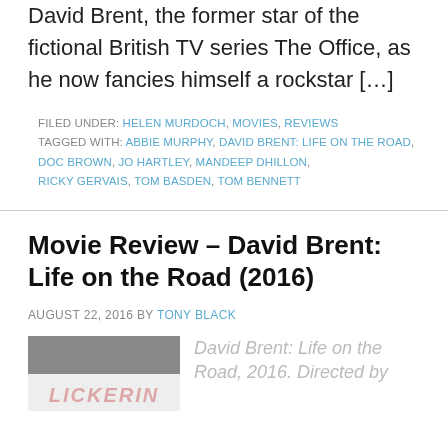David Brent, the former star of the fictional British TV series The Office, as he now fancies himself a rockstar […]
FILED UNDER: HELEN MURDOCH, MOVIES, REVIEWS
TAGGED WITH: ABBIE MURPHY, DAVID BRENT: LIFE ON THE ROAD, DOC BROWN, JO HARTLEY, MANDEEP DHILLON, RICKY GERVAIS, TOM BASDEN, TOM BENNETT
Movie Review – David Brent: Life on the Road (2016)
AUGUST 22, 2016 BY TONY BLACK
David Brent: Life on the Road, 2016. Directed by